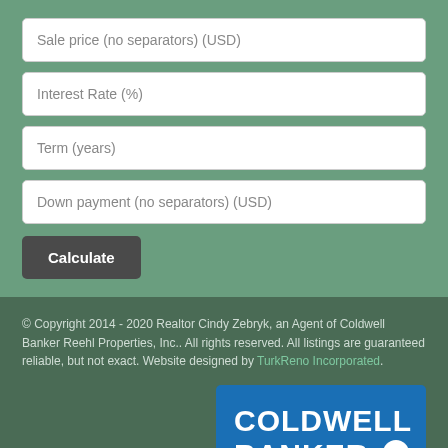Sale price (no separators) (USD)
Interest Rate (%)
Term (years)
Down payment (no separators) (USD)
Calculate
© Copyright 2014 - 2020 Realtor Cindy Zebryk, an Agent of Coldwell Banker Reehl Properties, Inc.. All rights reserved. All listings are guaranteed reliable, but not exact. Website designed by TurkReno Incorporated.
[Figure (logo): Coldwell Banker logo — white text on blue background with circular C icon]